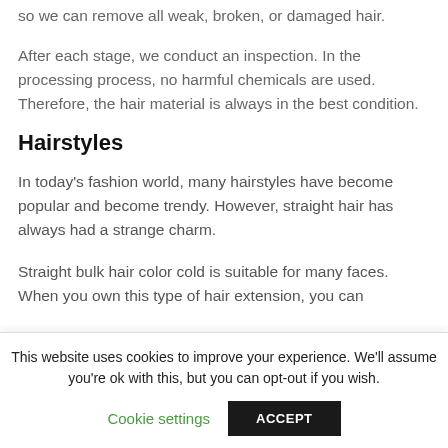so we can remove all weak, broken, or damaged hair.
After each stage, we conduct an inspection. In the processing process, no harmful chemicals are used. Therefore, the hair material is always in the best condition.
Hairstyles
In today’s fashion world, many hairstyles have become popular and become trendy. However, straight hair has always had a strange charm.
Straight bulk hair color cold is suitable for many faces. When you own this type of hair extension, you can
This website uses cookies to improve your experience. We’ll assume you’re ok with this, but you can opt-out if you wish.
Cookie settings
ACCEPT